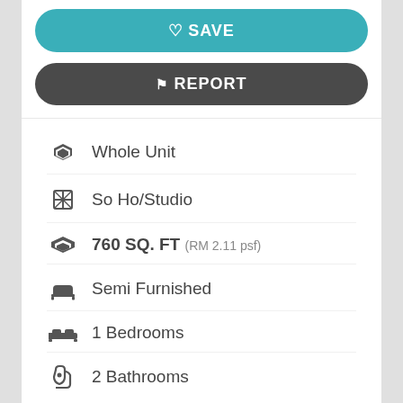♡ SAVE
⚑ REPORT
Whole Unit
So Ho/Studio
760 SQ. FT (RM 2.11 psf)
Semi Furnished
1 Bedrooms
2 Bathrooms
Pinnacle PJ Duplex SOHO for RENT
================================